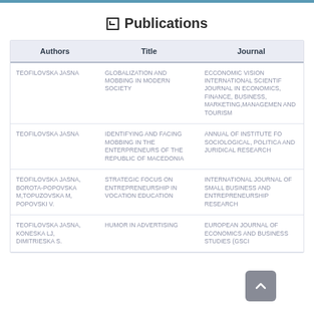Publications
| Authors | Title | Journal |
| --- | --- | --- |
| TEOFILOVSKA JASNA | GLOBALIZATION AND MOBBING IN MODERN SOCIETY | ECCONOMIC VISION INTERNATIONAL SCIENTIFIC JOURNAL IN ECONOMICS, FINANCE, BUSINESS, MARKETING,MANAGEMENT AND TOURISM |
| TEOFILOVSKA JASNA | IDENTIFYING AND FACING MOBBING IN THE ENTERPRENEURS OF THE REPUBLIC OF MACEDONIA | ANNUAL OF INSTITUTE FOR SOCIOLOGICAL, POLITICAL AND JURIDICAL RESEARCH |
| TEOFILOVSKA JASNA, BOROTA-POPOVSKA M,TOPUZOVSKA M, POPOVSKI V. | STRATEGIC FOCUS ON ENTREPRENEURSHIP IN VOCATION EDUCATION | INTERNATIONAL JOURNAL OF SMALL BUSINESS AND ENTREPRENEURSHIP RESEARCH |
| TEOFILOVSKA JASNA, KONESKA LJ, DIMITRIESKA S. | HUMOR IN ADVERTISING | EUROPEAN JOURNAL OF ECONOMICS AND BUSINESS STUDIES (GSCI... |